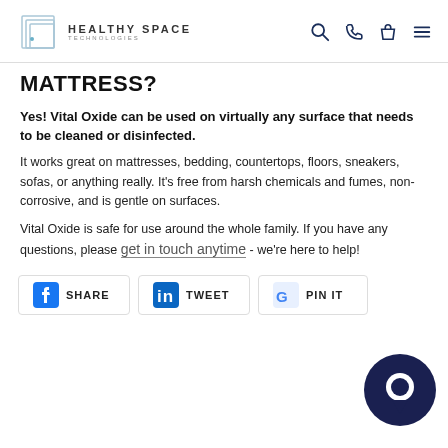HEALTHY SPACE TECHNOLOGIES
MATTRESS?
Yes! Vital Oxide can be used on virtually any surface that needs to be cleaned or disinfected.
It works great on mattresses, bedding, countertops, floors, sneakers, sofas, or anything really. It's free from harsh chemicals and fumes, non-corrosive, and is gentle on surfaces.
Vital Oxide is safe for use around the whole family. If you have any questions, please get in touch anytime - we're here to help!
[Figure (other): Social share buttons: Facebook SHARE, LinkedIn TWEET, Google PINIT]